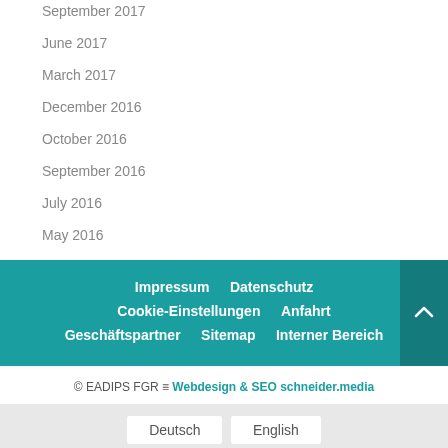September 2017
June 2017
March 2017
December 2016
October 2016
September 2016
July 2016
May 2016
Impressum  Datenschutz  Cookie-Einstellungen  Anfahrt  Geschäftspartner  Sitemap  Interner Bereich
© EADIPS FGR ≡ Webdesign & SEO schneider.media
Deutsch  English